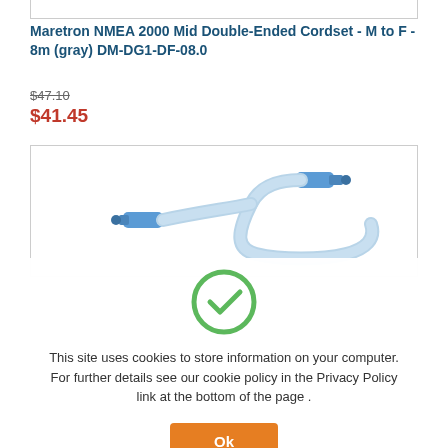Maretron NMEA 2000 Mid Double-Ended Cordset - M to F - 8m (gray) DM-DG1-DF-08.0
$47.10
$41.45
[Figure (photo): NMEA 2000 mid double-ended cordset cable with blue connectors on each end, coiled gray cable]
[Figure (other): Green circle with white checkmark icon]
This site uses cookies to store information on your computer. For further details see our cookie policy in the Privacy Policy link at the bottom of the page .
Ok